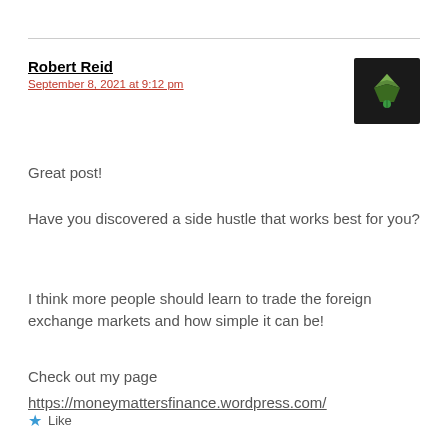Robert Reid
September 8, 2021 at 9:12 pm
Great post!
Have you discovered a side hustle that works best for you?
I think more people should learn to trade the foreign exchange markets and how simple it can be!
Check out my page
https://moneymattersfinance.wordpress.com/
★ Like